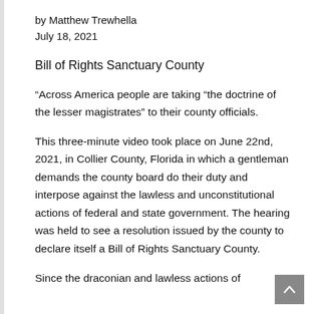by Matthew Trewhella
July 18, 2021
Bill of Rights Sanctuary County
“Across America people are taking “the doctrine of the lesser magistrates” to their county officials.
This three-minute video took place on June 22nd, 2021, in Collier County, Florida in which a gentleman demands the county board do their duty and interpose against the lawless and unconstitutional actions of federal and state government. The hearing was held to see a resolution issued by the county to declare itself a Bill of Rights Sanctuary County.
Since the draconian and lawless actions of